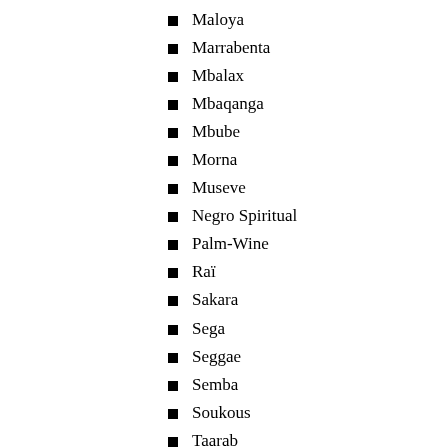Maloya
Marrabenta
Mbalax
Mbaqanga
Mbube
Morna
Museve
Negro Spiritual
Palm-Wine
Raï
Sakara
Sega
Seggae
Semba
Soukous
Taarab
Zouglou
Asia
Anison